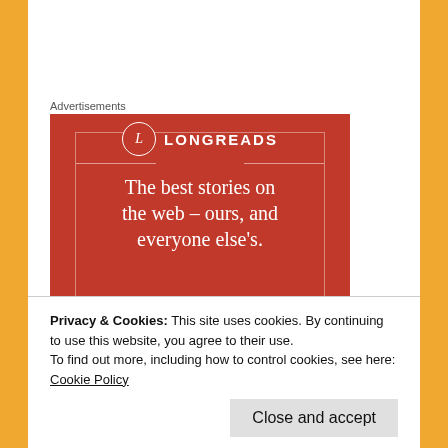Advertisements
[Figure (illustration): Longreads advertisement banner on red background with logo circle containing 'L', text reading 'The best stories on the web – ours, and everyone else's.' and a dark Start reading button]
Privacy & Cookies: This site uses cookies. By continuing to use this website, you agree to their use.
To find out more, including how to control cookies, see here: Cookie Policy
Close and accept
The Witches of Moonshyne Manor